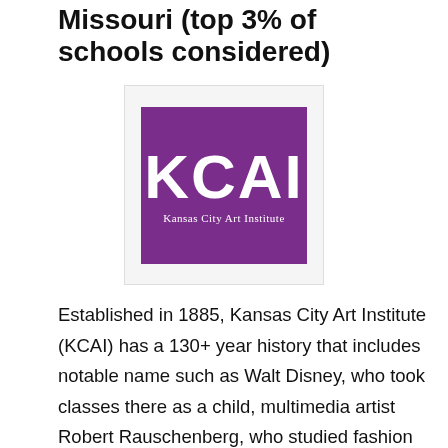Missouri (top 3% of schools considered)
[Figure (logo): KCAI - Kansas City Art Institute logo: white bold letters 'KCAI' on a purple/violet square background with 'Kansas City Art Institute' text below in white.]
Established in 1885, Kansas City Art Institute (KCAI) has a 130+ year history that includes notable name such as Walt Disney, who took classes there as a child, multimedia artist Robert Rauschenberg, who studied fashion design, writer Robert Morris, and performance artist and fabric sculptor Nick Cave, to name a few. Besides a long list of notable alumni and donors, KCAI offers 13 undergraduate studio